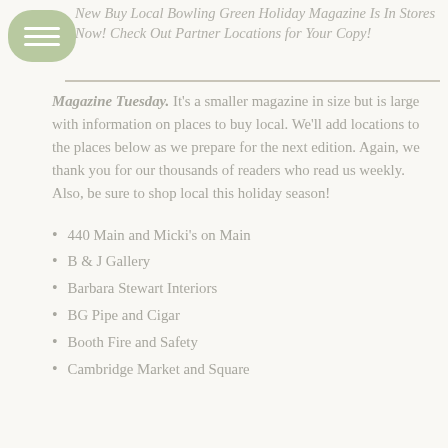New Buy Local Bowling Green Holiday Magazine Is In Stores Now! Check Out Partner Locations for Your Copy!
Magazine Tuesday. It's a smaller magazine in size but is large with information on places to buy local. We'll add locations to the places below as we prepare for the next edition. Again, we thank you for our thousands of readers who read us weekly. Also, be sure to shop local this holiday season!
440 Main and Micki's on Main
B & J Gallery
Barbara Stewart Interiors
BG Pipe and Cigar
Booth Fire and Safety
Cambridge Market and Square